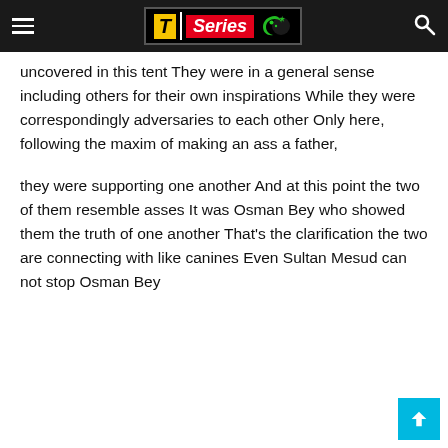T-Series logo header with hamburger menu and search icon
uncovered in this tent They were in a general sense including others for their own inspirations While they were correspondingly adversaries to each other Only here, following the maxim of making an ass a father,
they were supporting one another And at this point the two of them resemble asses It was Osman Bey who showed them the truth of one another That's the clarification the two are connecting with like canines Even Sultan Mesud can not stop Osman Bey